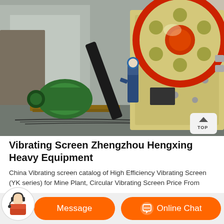[Figure (photo): Photograph of a large industrial jaw crusher machine at an outdoor site. A worker in blue uniform and hard hat stands next to the massive yellow crusher frame with a large red-rimmed flywheel. A green electric motor is visible on the left. Cables are on the ground. Buildings visible in background. A 'TOP' navigation button appears in bottom-right of the image.]
Vibrating Screen Zhengzhou Hengxing Heavy Equipment
China Vibrating screen catalog of High Efficiency Vibrating Screen (YK series) for Mine Plant, Circular Vibrating Screen Price From China